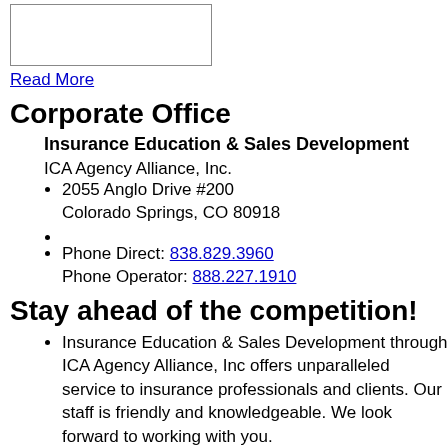[Figure (other): Empty bordered image box]
Read More
Corporate Office
Insurance Education & Sales Development
ICA Agency Alliance, Inc.
2055 Anglo Drive #200
Colorado Springs, CO 80918
Phone Direct: 838.829.3960
Phone Operator: 888.227.1910
Stay ahead of the competition!
Insurance Education & Sales Development through ICA Agency Alliance, Inc offers unparalleled service to insurance professionals and clients. Our staff is friendly and knowledgeable. We look forward to working with you.